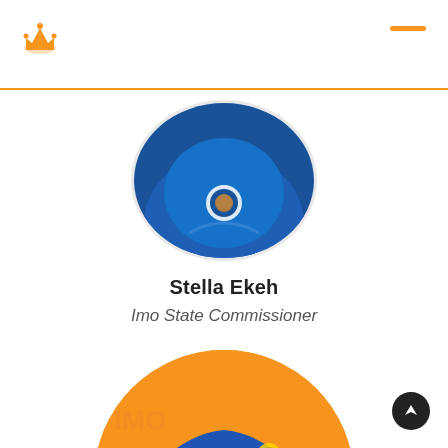[Figure (photo): Circular profile photo of Stella Ekeh wearing blue attire with a logo, partially visible at top]
Stella Ekeh
Imo State Commissioner
[Figure (photo): Circular profile photo of Stella Ekeh wearing a blue traditional cap with bead trim, face visible from forehead to eyes, on an orange background]